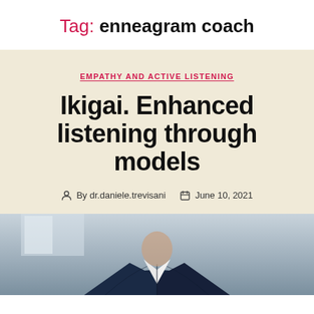Tag: enneagram coach
EMPATHY AND ACTIVE LISTENING
Ikigai. Enhanced listening through models
By dr.daniele.trevisani  June 10, 2021
[Figure (photo): A person wearing a dark blue suit, photographed from the chest up, partial view showing collar and lapel area]